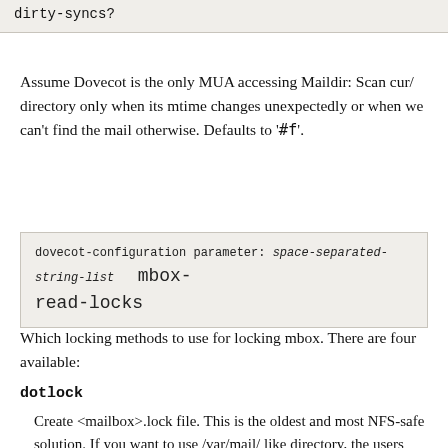dirty-syncs?
Assume Dovecot is the only MUA accessing Maildir: Scan cur/ directory only when its mtime changes unexpectedly or when we can’t find the mail otherwise. Defaults to ‘#f’.
dovecot-configuration parameter: space-separated-string-list mbox-read-locks
Which locking methods to use for locking mbox. There are four available:
dotlock
Create <mailbox>.lock file. This is the oldest and most NFS-safe solution. If you want to use /var/mail/ like directory, the users will need write access to that directory.